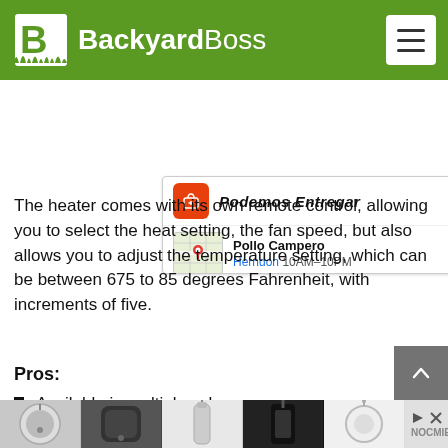BackyardBoss
[Figure (screenshot): Advertisement card showing 'Podemos Entregar' delivery service and Pollo Campero restaurant in Herndon, 10AM-10PM with map thumbnail and navigation icon]
The heater comes with its own remote control, allowing you to select the heat setting, the fan speed, but also allows you to adjust the temperature setting, which can be between 675 to 85 degrees Fahrenheit, with increments of five.
Pros:
Available in multiple colors.
Automatic shut-down when tipped over/overheats.
Low and high heat output settings.
Ligh[t weight / portable — partially visible]
Cons: